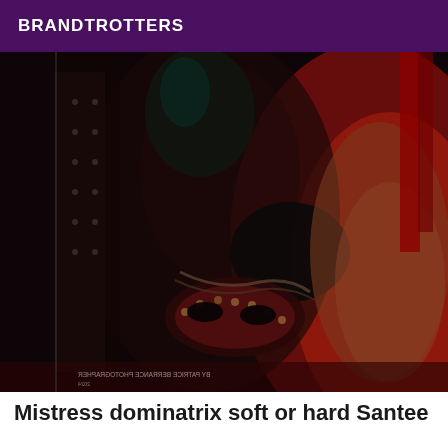BRANDTROTTERS
[Figure (photo): Dark, moody photograph of a person dressed in leather dominatrix attire with black gloves, holding a studded mask, with red lighting in the background and another figure visible on the right side. A photo credit watermark appears mirrored at the bottom right.]
Mistress dominatrix soft or hard Santee